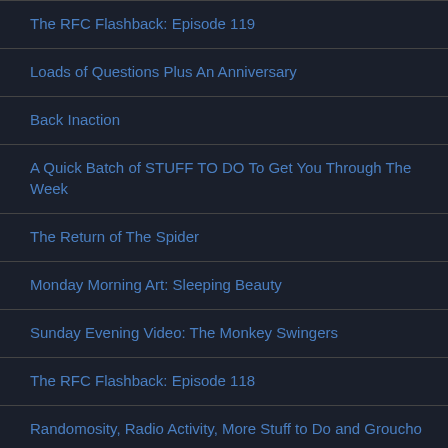The RFC Flashback: Episode 119
Loads of Questions Plus An Anniversary
Back Inaction
A Quick Batch of STUFF TO DO To Get You Through The Week
The Return of The Spider
Monday Morning Art: Sleeping Beauty
Sunday Evening Video: The Monkey Swingers
The RFC Flashback: Episode 118
Randomosity, Radio Activity, More Stuff to Do and Groucho
Yet Another Look at The Kentuckiana GI Joe Toy Expo